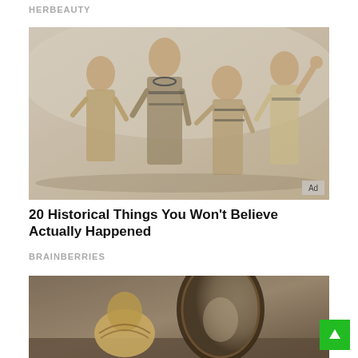HERBEAUTY
[Figure (photo): Black and white vintage photo of four women in 1930s-style swimwear/outfits posing together, with an 'Ad' badge in the bottom right corner]
20 Historical Things You Won't Believe Actually Happened
BRAINBERRIES
[Figure (photo): Vintage-style color photo of a child figure sitting near an ornate oval mirror on a wall, partially visible at bottom of page]